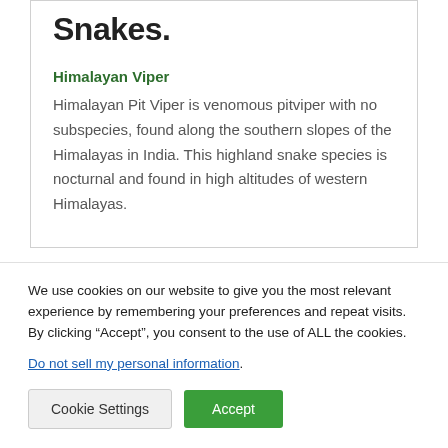Snakes.
Himalayan Viper
Himalayan Pit Viper is venomous pitviper with no subspecies, found along the southern slopes of the Himalayas in India. This highland snake species is nocturnal and found in high altitudes of western Himalayas.
We use cookies on our website to give you the most relevant experience by remembering your preferences and repeat visits. By clicking “Accept”, you consent to the use of ALL the cookies.
Do not sell my personal information.
Cookie Settings
Accept